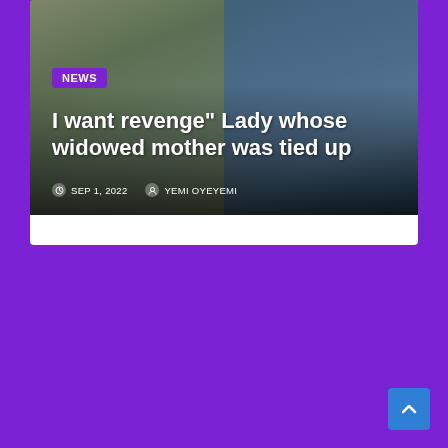[Figure (photo): News article card with a composite photo showing two images: on the left, a person sitting on the ground outdoors, and on the right, a woman in a blue outfit. Overlaid with article metadata.]
NEWS
I want revenge" Lady whose widowed mother was tied up
SEP 1, 2022   YEMI OYEYEMI